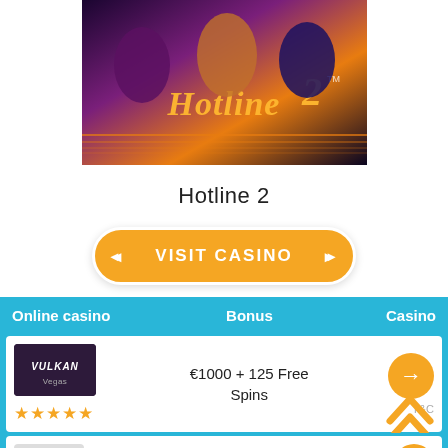[Figure (photo): Hotline 2 slot game promotional image showing three stylized characters with sunglasses against a warm glowing background, with the game title 'Hotline 2' in neon script]
Hotline 2
VISIT CASINO
| Online casino | Bonus | Casino |
| --- | --- | --- |
| Vulkan Vegas (5 stars) | €1000 + 125 Free Spins | → T&C |
| (logo) | 100% up to €1000 + | → |